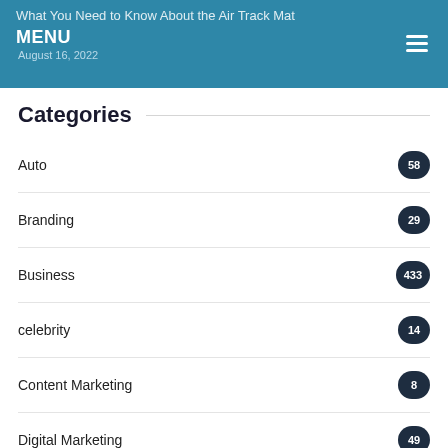What You Need to Know About the Air Track Mat
MENU  ≡  August 16, 2022
Categories
Auto  58
Branding  29
Business  433
celebrity  14
Content Marketing  8
Digital Marketing  49
Ecommerce  13